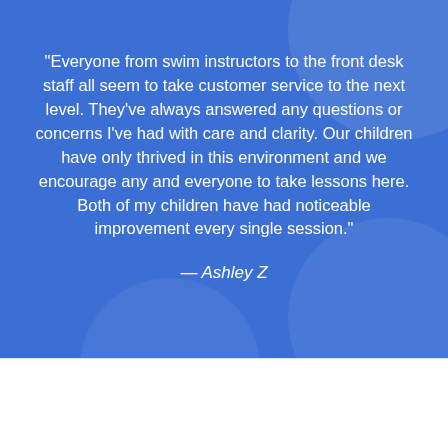"Everyone from swim instructors to the front desk staff all seem to take customer service to the next level. They've always answered any questions or concerns I've had with care and clarity. Our children have only thrived in this environment and we encourage any and everyone to take lessons here. Both of my children have had noticeable improvement every single session."
— Ashley Z
[Figure (photo): CA Swim Lessons Video Still 1 - placeholder image]
Swim Programs